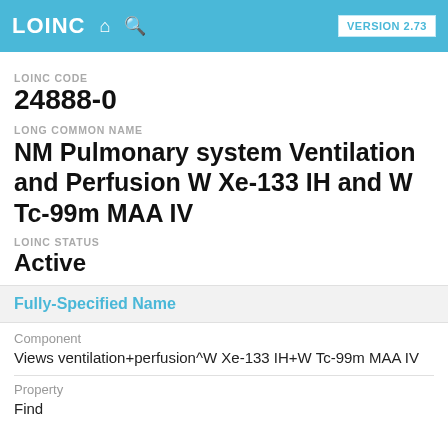LOINC  VERSION 2.73
LOINC CODE
24888-0
LONG COMMON NAME
NM Pulmonary system Ventilation and Perfusion W Xe-133 IH and W Tc-99m MAA IV
LOINC STATUS
Active
Fully-Specified Name
Component
Views ventilation+perfusion^W Xe-133 IH+W Tc-99m MAA IV
Property
Find